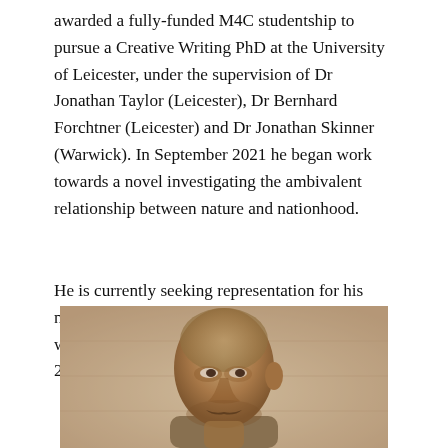awarded a fully-funded M4C studentship to pursue a Creative Writing PhD at the University of Leicester, under the supervision of Dr Jonathan Taylor (Leicester), Dr Bernhard Forchtner (Leicester) and Dr Jonathan Skinner (Warwick). In September 2021 he began work towards a novel investigating the ambivalent relationship between nature and nationhood.
He is currently seeking representation for his novel A Bad Decade for Good People, which was longlisted for the Grindstone Novel Prize 2020.
[Figure (photo): Sepia-toned portrait photograph of a bald man with a moustache, looking slightly to the side, against a light stone/brick background.]